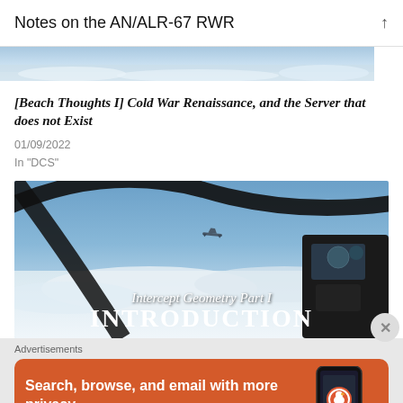Notes on the AN/ALR-67 RWR
[Figure (photo): Partial aerial/landscape photo strip at top of article card]
[Beach Thoughts I] Cold War Renaissance, and the Server that does not Exist
01/09/2022
In "DCS"
[Figure (photo): Cockpit view from a fighter jet showing another aircraft in the distance above clouds, overlaid with text 'Intercept Geometry Part I INTRODUCTION']
Advertisements
[Figure (screenshot): DuckDuckGo advertisement banner on orange background: 'Search, browse, and email with more privacy. All in One Free App' with phone graphic and DuckDuckGo logo]